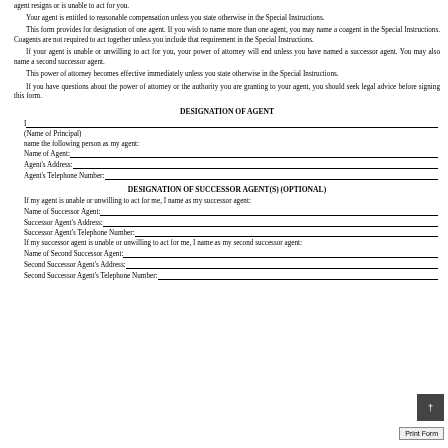agent resigns or is unable to act for you.
Your agent is entitled to reasonable compensation unless you state otherwise in the Special Instructions.
This form provides for designation of one agent. If you wish to name more than one agent, you may name a coagent in the Special Instructions. Coagents are not required to act together unless you include that requirement in the Special Instructions.
If your agent is unable or unwilling to act for you, your power of attorney will end unless you have named a successor agent. You may also name a second successor agent.
This power of attorney becomes effective immediately unless you state otherwise in the Special Instructions.
If you have questions about the power of attorney or the authority you are granting to your agent, you should seek legal advice before signing this form.
DESIGNATION OF AGENT
I
(Name of Principal)
name the following person as my agent:
Name of Agent:
Agent's Address:
Agent's Telephone Number:
DESIGNATION OF SUCCESSOR AGENT(S) (OPTIONAL)
If my agent is unable or unwilling to act for me, I name as my successor agent:
Name of Successor Agent:
Successor Agent's Address:
Successor Agent's Telephone Number:
If my successor agent is unable or unwilling to act for me, I name as my second successor agent:
Name of Second Successor Agent:
Second Successor Agent's Address:
Second Successor Agent's Telephone Number: